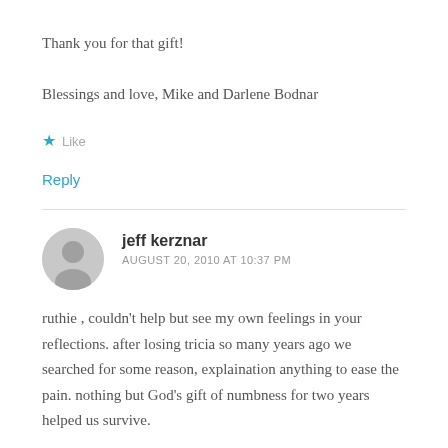Thank you for that gift!
Blessings and love, Mike and Darlene Bodnar
★ Like
Reply
jeff kerznar
AUGUST 20, 2010 AT 10:37 PM
ruthie , couldn't help but see my own feelings in your reflections. after losing tricia so many years ago we searched for some reason, explaination anything to ease the pain. nothing but God's gift of numbness for two years helped us survive.